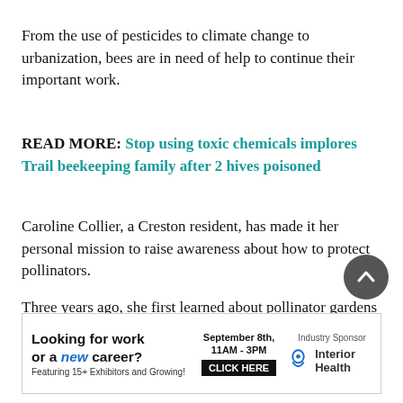From the use of pesticides to climate change to urbanization, bees are in need of help to continue their important work.
READ MORE: Stop using toxic chemicals implores Trail beekeeping family after 2 hives poisoned
Caroline Collier, a Creston resident, has made it her personal mission to raise awareness about how to protect pollinators.
Three years ago, she first learned about pollinator gardens from the David Suzuki Foundation's Butterflyway Project. The volunteer-led movement aims to bring nature to
[Figure (infographic): Advertisement banner: Looking for work or a new career? Featuring 15+ Exhibitors and Growing! September 8th, 11AM - 3PM. CLICK HERE. Industry Sponsor: Interior Health logo.]